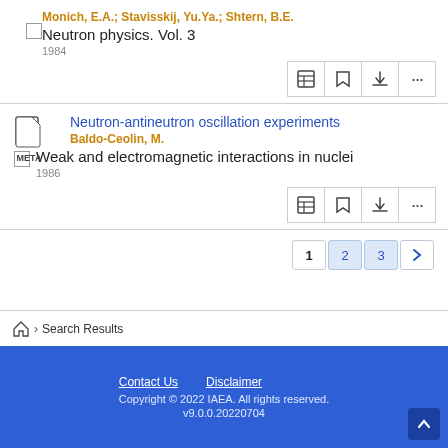Monich, E.A.; Stavisskij, Yu.Ya.; Shtern, B.E.
Neutron physics. Vol. 3
1984
[Figure (screenshot): Action icons row: table, tag, download, more]
[Figure (screenshot): META document icon]
Neutron-antineutron oscillation experiments
Baldo-Ceolin, M.
Weak and electromagnetic interactions in nuclei
1986
[Figure (screenshot): Action icons row: table, tag, download, more]
1  2  3  >
Search Results
Contact Us   Disclaimer
Copyright © 2022 IAEA. All rights reserved.
v9.0.0.20220704